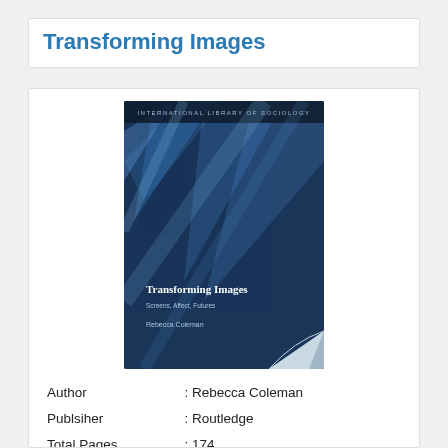Transforming Images
[Figure (photo): Book cover of 'Transforming Images' by Rebecca Coleman, published in the International Library of Sociology series by Routledge. Dark blue cover with abstract light streaks and a page-curl effect at the bottom right.]
| Author | : Rebecca Coleman |
| Publsiher | : Routledge |
| Total Pages | : 174 |
| Release | : 2015-01-28 |